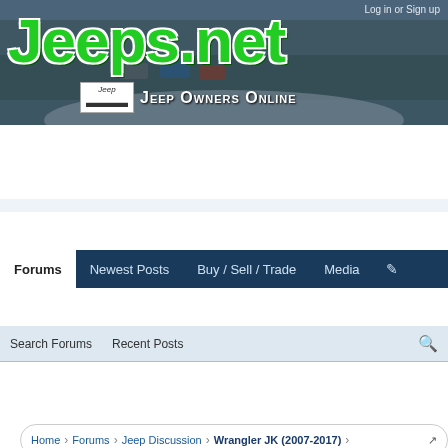[Figure (screenshot): Jeeps.net website header banner with background photo of Jeeps in snow, large green Jeeps.net logo text, Jeep badge icon, and Jeep Owners Online subtitle text]
Log in or Sign up
Forums  Newest Posts  Buy / Sell / Trade  Media
Search Forums  Recent Posts
Home > Forums > Jeep Discussion > Wrangler JK (2007-2017)
Search Jeeps.net...
Quick Links: Parts needed to complete rear defrost/wiper setup  Aftermarket Fog Lights  Suggestions on a shorter antenna?  Full size spare and carrier, Solved.  Screen/Mesh Passenger Zip-In Rear Windows  Cargo lock box suggestions?